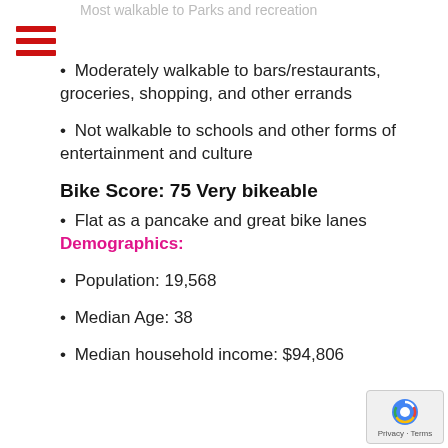Most walkable to Parks and recreation
Moderately walkable to bars/restaurants, groceries, shopping, and other errands
Not walkable to schools and other forms of entertainment and culture
Bike Score: 75 Very bikeable
Flat as a pancake and great bike lanes Demographics:
Population: 19,568
Median Age: 38
Median household income: $94,806